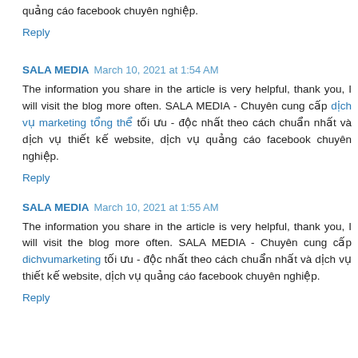quảng cáo facebook chuyên nghiệp.
Reply
SALA MEDIA  March 10, 2021 at 1:54 AM
The information you share in the article is very helpful, thank you, I will visit the blog more often. SALA MEDIA - Chuyên cung cấp dịch vụ marketing tổng thể tối ưu - độc nhất theo cách chuẩn nhất và dịch vụ thiết kế website, dịch vụ quảng cáo facebook chuyên nghiệp.
Reply
SALA MEDIA  March 10, 2021 at 1:55 AM
The information you share in the article is very helpful, thank you, I will visit the blog more often. SALA MEDIA - Chuyên cung cấp dichvumarketing tối ưu - độc nhất theo cách chuẩn nhất và dịch vụ thiết kế website, dịch vụ quảng cáo facebook chuyên nghiệp.
Reply